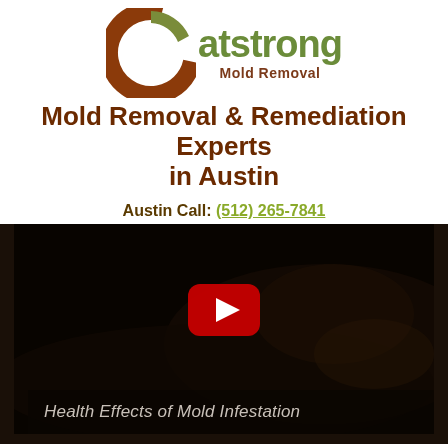[Figure (logo): Catstrong logo: large brown C circle with olive/brown segments, text 'atstrong' in olive green, 'Mold Removal' in dark brown below]
Mold Removal & Remediation Experts in Austin
Austin Call: (512) 265-7841
[Figure (screenshot): Dark video thumbnail showing a person, with a YouTube play button (red rounded square with white triangle) centered. Bottom bar reads 'Health Effects of Mold Infestation' in italic gray text.]
Health Effects of Mold Infestation